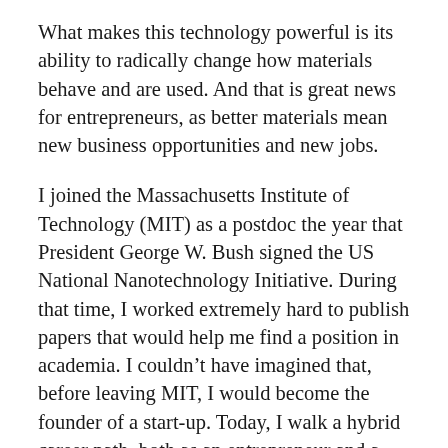What makes this technology powerful is its ability to radically change how materials behave and are used. And that is great news for entrepreneurs, as better materials mean new business opportunities and new jobs.
I joined the Massachusetts Institute of Technology (MIT) as a postdoc the year that President George W. Bush signed the US National Nanotechnology Initiative. During that time, I worked extremely hard to publish papers that would help me find a position in academia. I couldn't have imagined that, before leaving MIT, I would become the founder of a start-up. Today, I walk a hybrid career path, both as an entrepreneur and a professor, discovering and commercializing nanomaterials for energy applications. So, what have I learned that can be useful to other nanotech entrepreneurs?